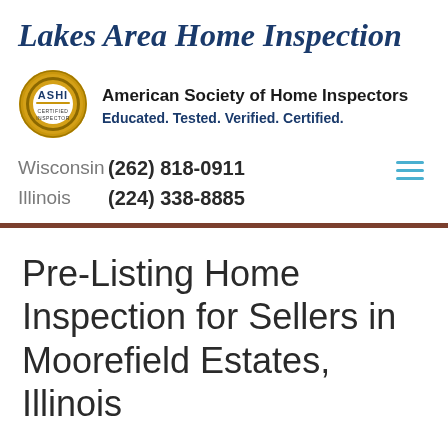Lakes Area Home Inspection
[Figure (logo): ASHI Certified Inspector gold seal badge]
American Society of Home Inspectors
Educated. Tested. Verified. Certified.
Wisconsin  (262) 818-0911
Illinois    (224) 338-8885
Pre-Listing Home Inspection for Sellers in Moorefield Estates, Illinois